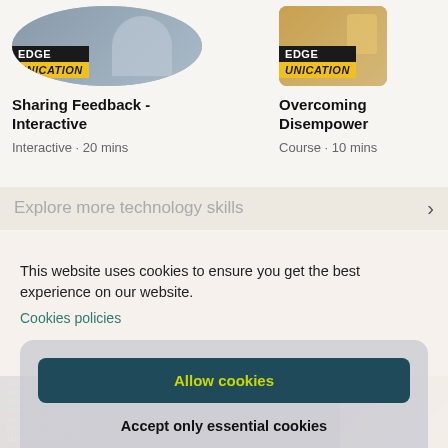[Figure (photo): Edge Communication course thumbnail - circular image of person at desk with Edge Communication logo overlay]
Sharing Feedback - Interactive
Interactive · 20 mins
[Figure (photo): Edge Communication course thumbnail - image with gavel/legal theme and Edge Communication logo overlay]
Overcoming Disempower
Course · 10 mins
Explore more technology skills
This website uses cookies to ensure you get the best experience on our website.
Cookies policies
Allow cookies
Accept only essential cookies
Cookie Preferences
[Figure (screenshot): Bottom strip showing digital code/technology background on left and person at computer on right]